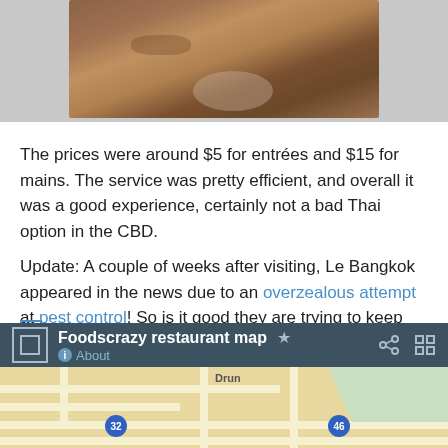[Figure (photo): Photo of Thai food dish on a plate, showing noodles and meat with rice]
The prices were around $5 for entrées and $15 for mains. The service was pretty efficient, and overall it was a good experience, certainly not a bad Thai option in the CBD.
Update: A couple of weeks after visiting, Le Bangkok appeared in the news due to an overzealous attempt at pest control! So is it good they are trying to keep the place hygienic, or is it a worry they needed to use the bombs and/or used them so devastatingly!
Le Bangkok on Urbanspoon
[Figure (screenshot): Foodscrazy restaurant map widget showing a Google Maps embed with streets and route markers 32 and 46]